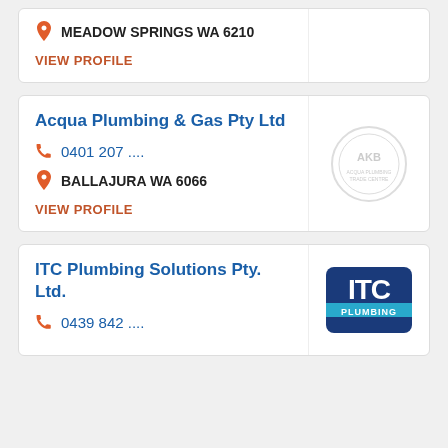MEADOW SPRINGS WA 6210
VIEW PROFILE
Acqua Plumbing & Gas Pty Ltd
0401 207 ....
BALLAJURA WA 6066
VIEW PROFILE
[Figure (logo): Circular badge/seal logo for Acqua Plumbing & Gas]
ITC Plumbing Solutions Pty. Ltd.
0439 842 ....
[Figure (logo): ITC Plumbing logo — blue rounded rectangle with ITC text and cyan stripe]